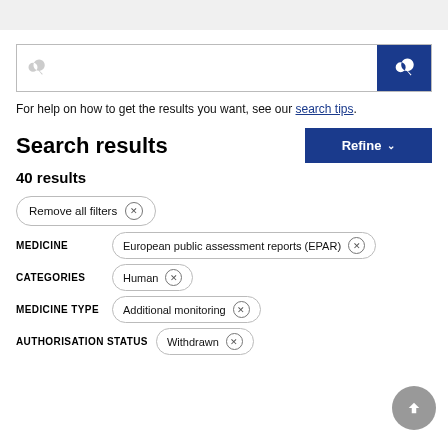For help on how to get the results you want, see our search tips.
Search results
40 results
Remove all filters ×
MEDICINE   European public assessment reports (EPAR) ×
CATEGORIES   Human ×
MEDICINE TYPE   Additional monitoring ×
AUTHORISATION STATUS   Withdrawn ×